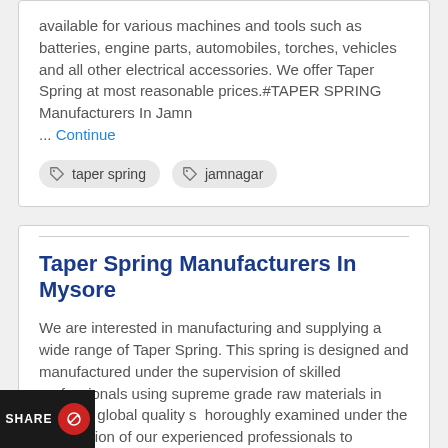available for various machines and tools such as batteries, engine parts, automobiles, torches, vehicles and all other electrical accessories. We offer Taper Spring at most reasonable prices.#TAPER SPRING Manufacturers In Jamn ... Continue
taper spring
jamnagar
Taper Spring Manufacturers In Mysore
We are interested in manufacturing and supplying a wide range of Taper Spring. This spring is designed and manufactured under the supervision of skilled professionals using supreme grade raw materials in line with global quality s thoroughly examined under the supervision of our experienced professionals to its durability. In order to fulfill the wide needs ...